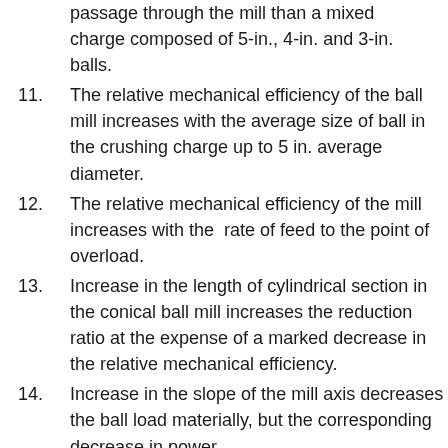(continuation) passage through the mill than a mixed charge composed of 5-in., 4-in., and 3-in. balls.
11. The relative mechanical efficiency of the ball mill increases with the average size of ball in the crushing charge up to 5 in. average diameter.
12. The relative mechanical efficiency of the mill increases with the  rate of feed to the point of overload.
13. Increase in the length of cylindrical section in the conical ball mill increases the reduction ratio at the expense of a marked decrease in the relative mechanical efficiency.
14. Increase in the slope of the mill axis decreases the ball load materially, but the corresponding decrease in power